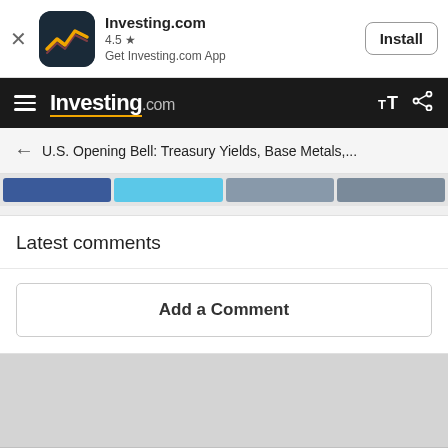[Figure (screenshot): Investing.com app install banner with app icon, 4.5 star rating, and Install button]
Investing.com
U.S. Opening Bell: Treasury Yields, Base Metals,...
Latest comments
Add a Comment